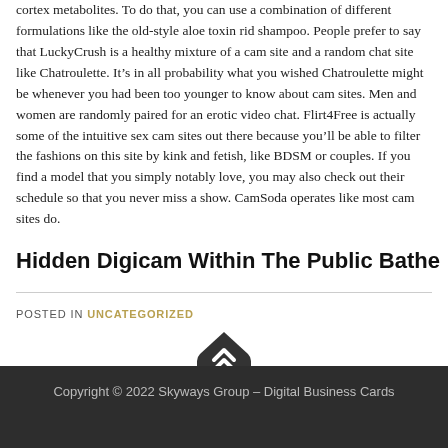cortex metabolites. To do that, you can use a combination of different formulations like the old-style aloe toxin rid shampoo. People prefer to say that LuckyCrush is a healthy mixture of a cam site and a random chat site like Chatroulette. It's in all probability what you wished Chatroulette might be whenever you had been too younger to know about cam sites. Men and women are randomly paired for an erotic video chat. Flirt4Free is actually some of the intuitive sex cam sites out there because you'll be able to filter the fashions on this site by kink and fetish, like BDSM or couples. If you find a model that you simply notably love, you may also check out their schedule so that you never miss a show. CamSoda operates like most cam sites do.
Hidden Digicam Within The Public Bathe
POSTED IN UNCATEGORIZED
[Figure (other): Dark rounded button with double chevron/arrow up icon]
Copyright © 2022 Skyways Group – Digital Business Cards